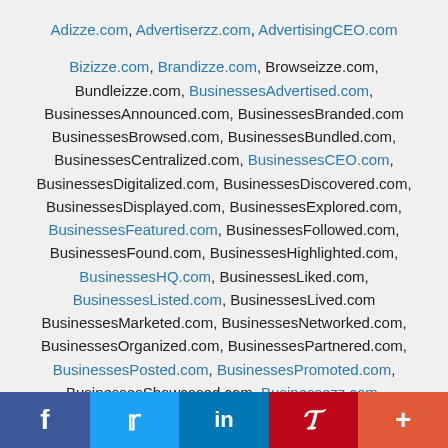Adizze.com, Advertiserzz.com, AdvertisingCEO.com

Bizizze.com, Brandizze.com, Browseizze.com, Bundleizze.com, BusinessesAdvertised.com, BusinessesAnnounced.com, BusinessesBranded.com BusinessesBrowsed.com, BusinessesBundled.com, BusinessesCentralized.com, BusinessesCEO.com, BusinessesDigitalized.com, BusinessesDiscovered.com, BusinessesDisplayed.com, BusinessesExplored.com, BusinessesFeatured.com, BusinessesFollowed.com, BusinessesFound.com, BusinessesHighlighted.com, BusinessesHQ.com, BusinessesLiked.com, BusinessesListed.com, BusinessesLived.com BusinessesMarketed.com, BusinessesNetworked.com, BusinessesOrganized.com, BusinessesPartnered.com, BusinessesPosted.com, BusinessesPromoted.com, BusinessesShowcased.com, Businessezz.com, Businessizze.com, BusinessStorefronts.com
f  Twitter  in  P  +